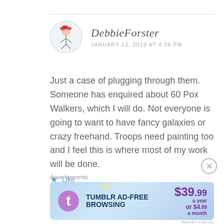[Figure (illustration): Avatar of DebbieForster: stick figure with red curly hair inside a dashed circle]
DebbieForster
JANUARY 13, 2019 AT 4:34 PM
Just a case of plugging through them. Someone has enquired about 60 Pox Walkers, which I will do. Not everyone is going to want to have fancy galaxies or crazy freehand. Troops need painting too and I feel this is where most of my work will be done.
Like
Advertisements
[Figure (infographic): Tumblr Ad-Free Browsing advertisement banner: $39.99 a year or $4.99 a month]